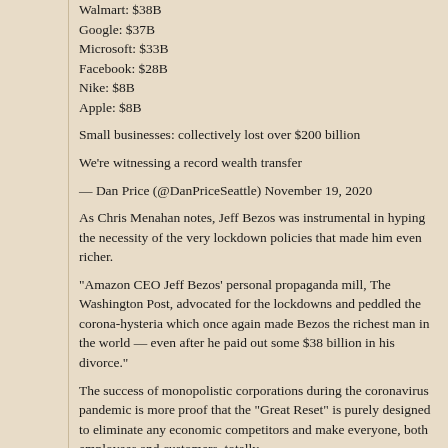Walmart: $38B
Google: $37B
Microsoft: $33B
Facebook: $28B
Nike: $8B
Apple: $8B
Small businesses: collectively lost over $200 billion
We're witnessing a record wealth transfer
— Dan Price (@DanPriceSeattle) November 19, 2020
As Chris Menahan notes, Jeff Bezos was instrumental in hyping the necessity of the very lockdown policies that made him even richer.
"Amazon CEO Jeff Bezos' personal propaganda mill, The Washington Post, advocated for the lockdowns and peddled the corona-hysteria which once again made Bezos the richest man in the world — even after he paid out some $38 billion in his divorce."
The success of monopolistic corporations during the coronavirus pandemic is more proof that the "Great Reset" is purely designed to eliminate any economic competitors and make everyone, both employees and customers, totally